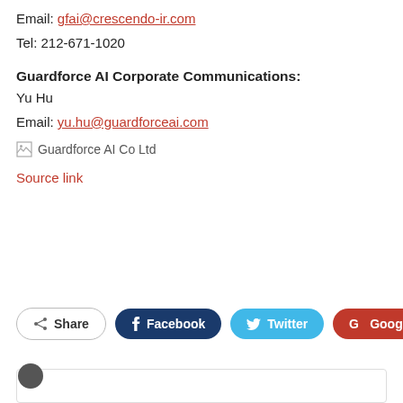Email: gfai@crescendo-ir.com
Tel: 212-671-1020
Guardforce AI Corporate Communications:
Yu Hu
Email: yu.hu@guardforceai.com
[Figure (other): Broken image placeholder with alt text: Guardforce AI Co Ltd]
Source link
[Figure (other): Social sharing buttons: Share, Facebook, Twitter, Google+]